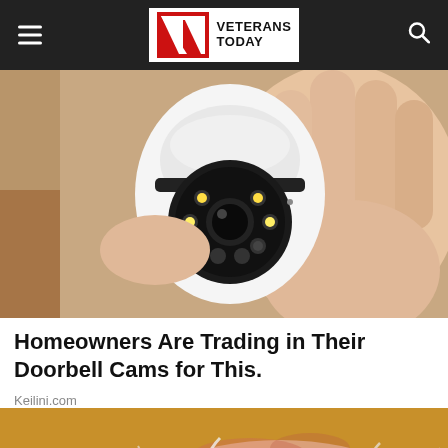VETERANS TODAY
[Figure (photo): A hand holding a small white security camera with a round lens housing and multiple LED lights arranged in a circle around the central camera lens. The camera is compact and dome-shaped.]
Homeowners Are Trading in Their Doorbell Cams for This.
Keilini.com
[Figure (photo): Close-up photo of the top of an elderly person's head with white/grey hair and wrinkled forehead skin.]